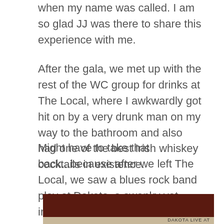when my name was called. I am so glad JJ was there to share this experience with me.
After the gala, we met up with the rest of the WC group for drinks at The Local, where I awkwardly got hit on by a very drunk man on my way to the bathroom and also had one of the best Irish whiskey cocktails in existence.
Might have to take that back...because after we left The Local, we saw a blues rock band play at Dakota, a swanky yet intimate jazz club. The atmosphere was great but the live music and drinks were even better. I don't even like gin that much, but Sweet Thunder was delicious.
[Figure (photo): Dark reddish-brown background photo with a light-colored strip at the bottom showing partial text.]